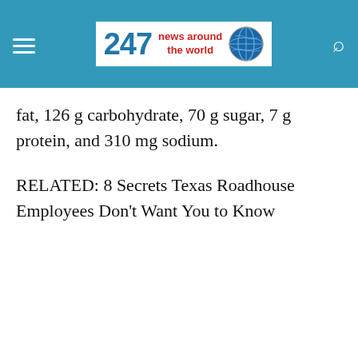247 news around the world
fat, 126 g carbohydrate, 70 g sugar, 7 g protein, and 310 mg sodium.
RELATED: 8 Secrets Texas Roadhouse Employees Don't Want You to Know